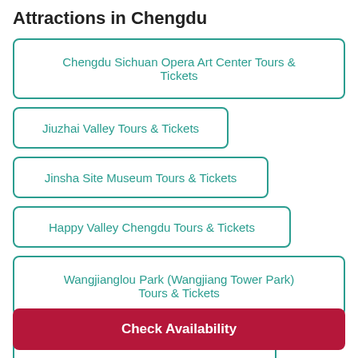Attractions in Chengdu
Chengdu Sichuan Opera Art Center Tours & Tickets
Jiuzhai Valley Tours & Tickets
Jinsha Site Museum Tours & Tickets
Happy Valley Chengdu Tours & Tickets
Wangjianglou Park (Wangjiang Tower Park) Tours & Tickets
Luodai Ancient Town Tours & Tickets
Check Availability